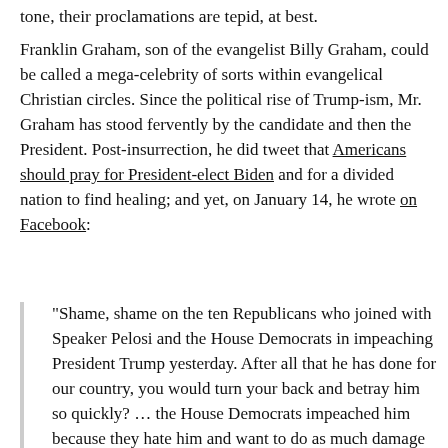tone, their proclamations are tepid, at best.
Franklin Graham, son of the evangelist Billy Graham, could be called a mega-celebrity of sorts within evangelical Christian circles. Since the political rise of Trump-ism, Mr. Graham has stood fervently by the candidate and then the President. Post-insurrection, he did tweet that Americans should pray for President-elect Biden and for a divided nation to find healing; and yet, on January 14, he wrote on Facebook:
“Shame, shame on the ten Republicans who joined with Speaker Pelosi and the House Democrats in impeaching President Trump yesterday. After all that he has done for our country, you would turn your back and betray him so quickly? … the House Democrats impeached him because they hate him and want to do as much damage as they can. And